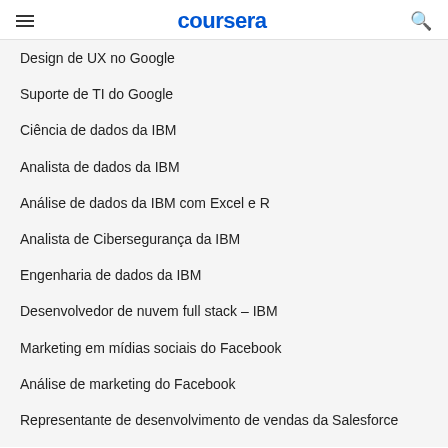coursera
Design de UX no Google
Suporte de TI do Google
Ciência de dados da IBM
Analista de dados da IBM
Análise de dados da IBM com Excel e R
Analista de Cibersegurança da IBM
Engenharia de dados da IBM
Desenvolvedor de nuvem full stack – IBM
Marketing em mídias sociais do Facebook
Análise de marketing do Facebook
Representante de desenvolvimento de vendas da Salesforce
Operações de vendas da Salesforce
Contabilidade da Intuit
Preparação para a Certificação em Google Cloud: Cloud Architect